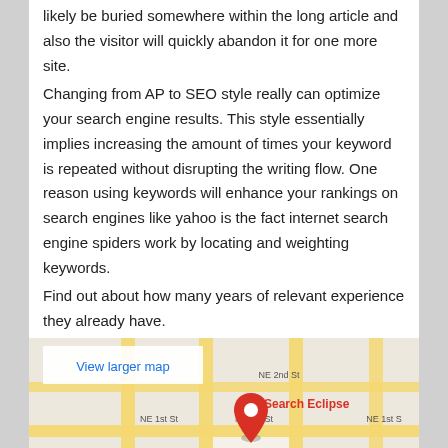likely be buried somewhere within the long article and also the visitor will quickly abandon it for one more site.
Changing from AP to SEO style really can optimize your search engine results. This style essentially implies increasing the amount of times your keyword is repeated without disrupting the writing flow. One reason using keywords will enhance your rankings on search engines like yahoo is the fact internet search engine spiders work by locating and weighting keywords.
Find out about how many years of relevant experience they already have.
[Figure (map): Google Maps screenshot showing Search Eclipse location near E Broward Blvd and NE 1st St, with a red location pin labeled 'Search Eclipse'. Includes 'View larger map' link, street grid, and partial labels for 'on Live', 'lectric Eye', 'Savage Global Marketing', Google logo.]